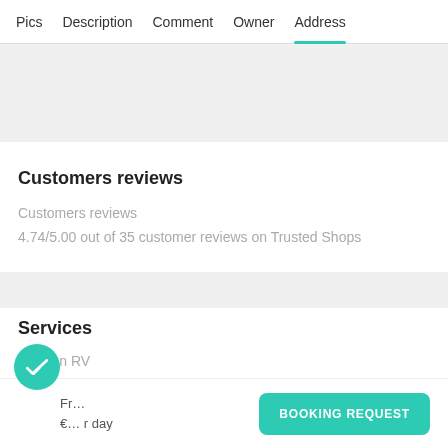Pics  Description  Comment  Owner  Address
Customers reviews
Customers reviews
4.74/5.00 out of 35 customer reviews on Trusted Shops
Services
Rent an RV
Check how much you could earn
Create an Ad
Fr…
€…r day
BOOKING REQUEST